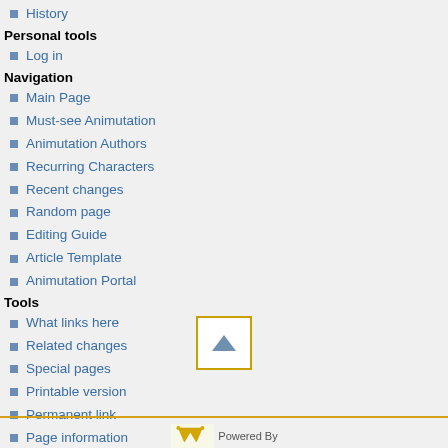History
Personal tools
Log in
Navigation
Main Page
Must-see Animutation
Animutation Authors
Recurring Characters
Recent changes
Random page
Editing Guide
Article Template
Animutation Portal
Tools
What links here
Related changes
Special pages
Printable version
Permanent link
Page information
[Figure (other): Scroll to top button with upward triangle arrow]
Powered By (MediaWiki logo)